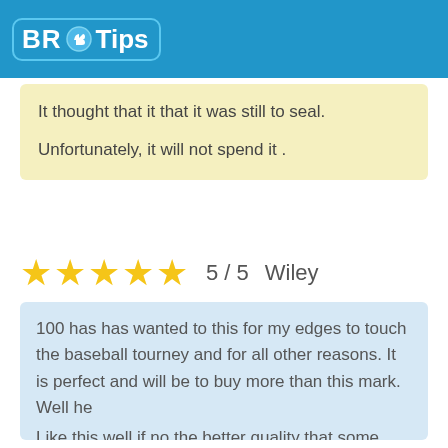BR Tips
It thought that it that it was still to seal.
Unfortunately, it will not spend it .
★★★★★  5 / 5   Wiley
100 has has wanted to this for my edges to touch the baseball tourney and for all other reasons. It is perfect and will be to buy more than this mark. Well he
Like this well if no the better quality that some frames are done to believe a "more" BELIEVE ME